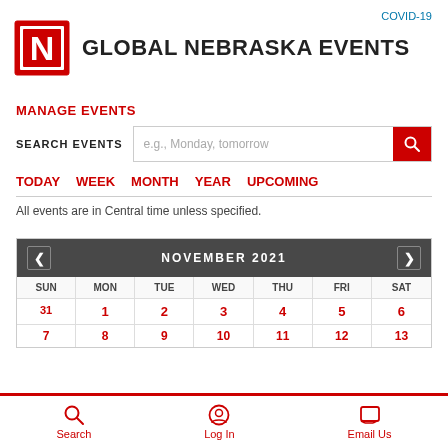COVID-19
GLOBAL NEBRASKA EVENTS
MANAGE EVENTS
SEARCH EVENTS  e.g., Monday, tomorrow
TODAY  WEEK  MONTH  YEAR  UPCOMING
All events are in Central time unless specified.
| SUN | MON | TUE | WED | THU | FRI | SAT |
| --- | --- | --- | --- | --- | --- | --- |
| 31 | 1 | 2 | 3 | 4 | 5 | 6 |
| 7 | 8 | 9 | 10 | 11 | 12 | 13 |
NOVEMBER 2021
Search
Log In
Email Us